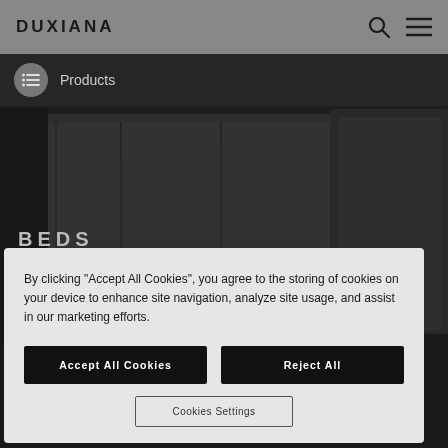DUXIANA
Products
[Figure (photo): Dark-toned product photo of upholstered bed headboards against a dark background]
BEDS
By clicking “Accept All Cookies”, you agree to the storing of cookies on your device to enhance site navigation, analyze site usage, and assist in our marketing efforts.
Accept All Cookies
Reject All